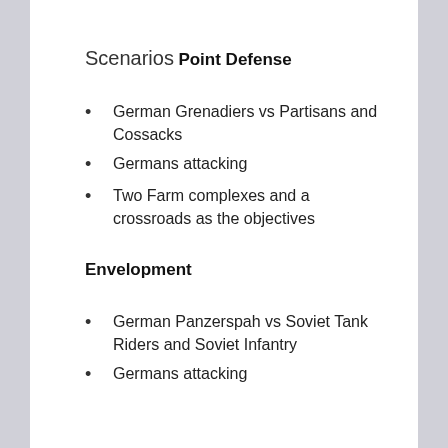Scenarios
Point Defense
German Grenadiers vs Partisans and Cossacks
Germans attacking
Two Farm complexes and a crossroads as the objectives
Envelopment
German Panzerspah vs Soviet Tank Riders and Soviet Infantry
Germans attacking